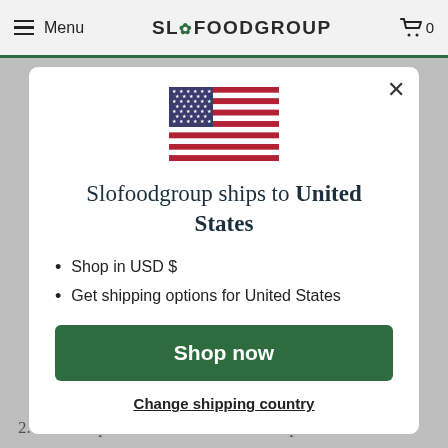Menu  SLOFOODGROUP  0
[Figure (screenshot): Modal dialog showing US flag, shipping country selector for Slofoodgroup website]
Slofoodgroup ships to United States
Shop in USD $
Get shipping options for United States
Shop now
Change shipping country
2. Slice the porcinis, morels, black trumpets and three